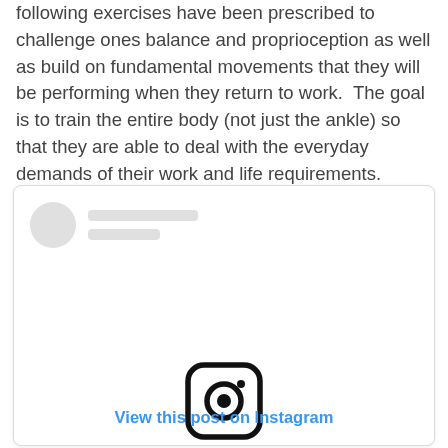following exercises have been prescribed to challenge ones balance and proprioception as well as build on fundamental movements that they will be performing when they return to work.  The goal is to train the entire body (not just the ankle) so that they are able to deal with the everyday demands of their work and life requirements.
[Figure (screenshot): Instagram embed card with placeholder avatar and name lines, Instagram logo icon in center, and 'View this post on Instagram' link at bottom]